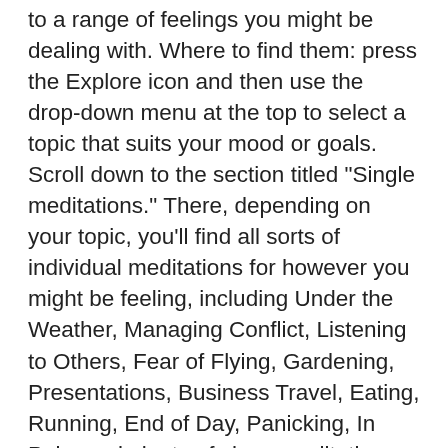to a range of feelings you might be dealing with. Where to find them: press the Explore icon and then use the drop-down menu at the top to select a topic that suits your mood or goals. Scroll down to the section titled "Single meditations." There, depending on your topic, you'll find all sorts of individual meditations for however you might be feeling, including Under the Weather, Managing Conflict, Listening to Others, Fear of Flying, Gardening, Presentations, Business Travel, Eating, Running, End of Day, Panicking, In Pain, and plenty of sleep meditations and sounds.  We also have SOS meditation exercises that are 3 minutes long and can be found under the topic "Stress & anxiety." 3. I want to dip my toes into doing a course. Why not start with a 10-day course? You can get a feel for how they work before diving into a 30-day course. Where to find them: press the